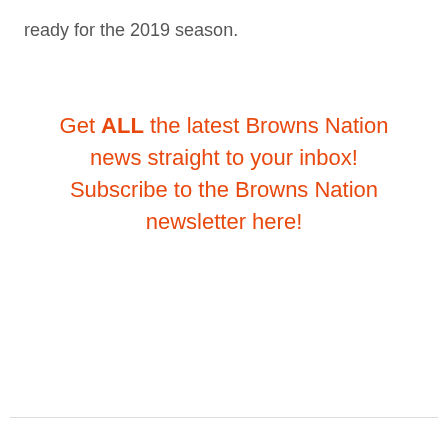ready for the 2019 season.
Get ALL the latest Browns Nation news straight to your inbox! Subscribe to the Browns Nation newsletter here!